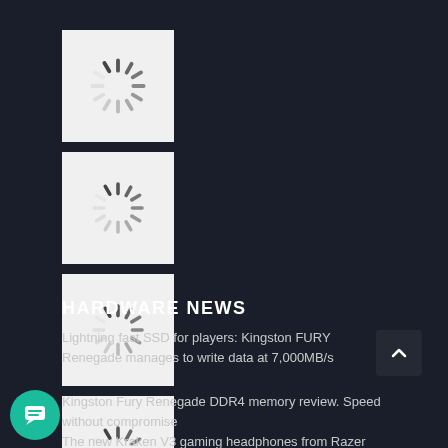[Figure (screenshot): Loading spinner icon in a white square box (1 of 4)]
[Figure (screenshot): Loading spinner icon in a white square box (2 of 4)]
[Figure (screenshot): Loading spinner icon in a white square box (3 of 4)]
[Figure (screenshot): Loading spinner icon in a white square box (4 of 4)]
HARDWARE NEWS
Lightning fast SSD for players: Kingston FURY Renegade manages to write data at 7,000MB/s
Kingston Fury Renegade DDR4 memory review. Speed without compromise
The new Kraken V3 gaming headphones from Razer